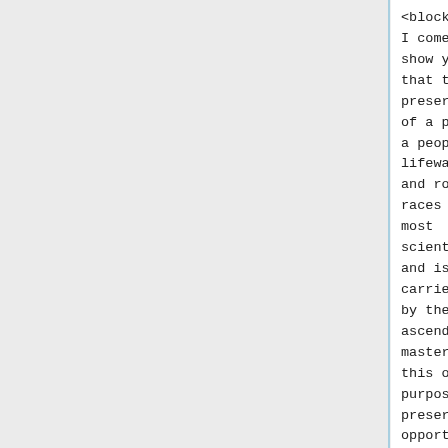<blockquote>
I come to
show you
that the
preservation
of a planet,
a people, of
lifewaves
and root
races is
most
scientific
and is
carried on
by the
ascended
masters for
this one
purpose—to
preserve the
opportunity
<blockquote>
I come to
show you
that the
preservation
of a planet,
a people, of
lifewaves
and root
races is
most
scientific
and is
carried on
by the
ascended
masters for
this one
purpose—to
preserve the
opportunity